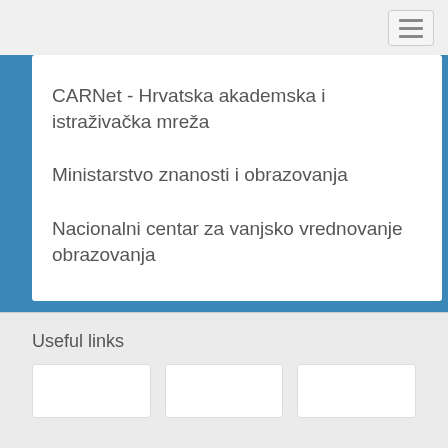[Figure (screenshot): Hamburger menu button (three horizontal bars) in top-right corner]
CARNet - Hrvatska akademska i istraživačka mreža
Ministarstvo znanosti i obrazovanja
Nacionalni centar za vanjsko vrednovanje obrazovanja
Useful links
[Figure (other): Three white rectangular placeholder boxes for useful links]